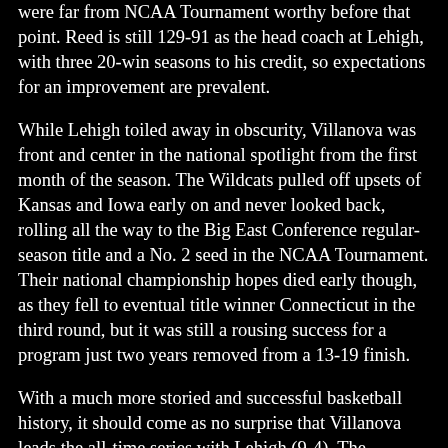were far from NCAA Tournament worthy before that point. Reed is still 129-91 as the head coach at Lehigh, with three 20-win seasons to his credit, so expectations for an improvement are prevalent.
While Lehigh toiled away in obscurity, Villanova was front and center in the national spotlight from the first month of the season. The Wildcats pulled off upsets of Kansas and Iowa early on and never looked back, rolling all the way to the Big East Conference regular-season title and a No. 2 seed in the NCAA Tournament. Their national championship hopes died early though, as they fell to eventual title winner Connecticut in the third round, but it was still a rousing success for a program just two years removed from a 13-19 finish.
With a much more storied and successful basketball history, it should come as no surprise that Villanova leads the all-time series with Lehigh (9-4). The Wildcats really illustrated their dominance in the last meeting, when they ran away with an 84-47 victory during the 2005-06 season.
Beyond the recent success Lehigh has had under Reed, the fact that the program has four starters back also lends itself to optimistic expectations for this season. Of course, experience won't make a difference if the Mountain Hawks continue to struggle to score points. Although they were not the worst team in the Patriot League in terms of offensive success last season, they only averaged 66.3 ppg, while shooting 43.2 percent from the field. Becoming more efficient will be difficult without leading scorer and distributor Mackey McKnight (13.5 ppg, 6 apg), but the rest of the lineup is filled with proven commodities. Tim Kempton (13 ppg, 7.1 rpg) is the best of the bunch and coming off an award-winning freshman campaign. Jesse Chuku (8.7 ppg, 5.9 rpg), Corey Schaefer (8.3 ppg, 2.5 apg) and Austin Price (8.4 ppg) are all back as well.